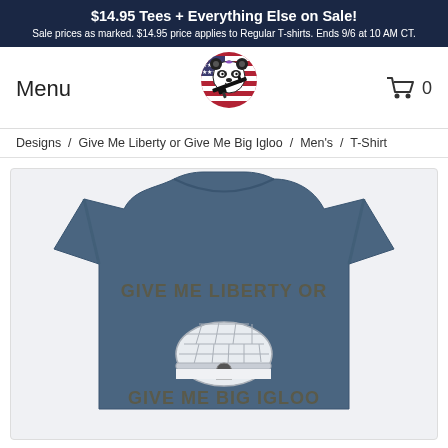$14.95 Tees + Everything Else on Sale! Sale prices as marked. $14.95 price applies to Regular T-shirts. Ends 9/6 at 10 AM CT.
Menu
[Figure (logo): Panda bear with American flag background holding a rifle, circular logo]
[Figure (illustration): Shopping cart icon with 0]
Designs  /  Give Me Liberty or Give Me Big Igloo  /  Men's  /  T-Shirt
[Figure (photo): Navy blue t-shirt with text 'GIVE ME LIBERTY OR GIVE ME BIG IGLOO' and igloo illustration printed on the front]